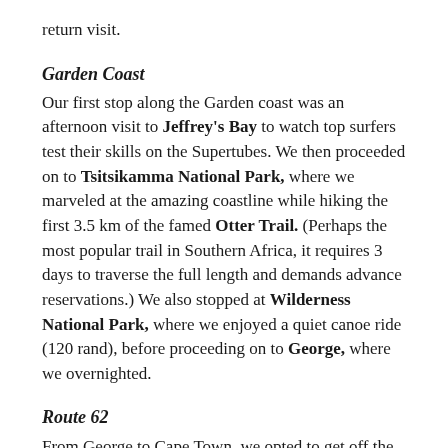return visit.
Garden Coast
Our first stop along the Garden coast was an afternoon visit to Jeffrey's Bay to watch top surfers test their skills on the Supertubes. We then proceeded on to Tsitsikamma National Park, where we marveled at the amazing coastline while hiking the first 3.5 km of the famed Otter Trail. (Perhaps the most popular trail in Southern Africa, it requires 3 days to traverse the full length and demands advance reservations.) We also stopped at Wilderness National Park, where we enjoyed a quiet canoe ride (120 rand), before proceeding on to George, where we overnighted.
Route 62
From George to Cape Town, we opted to get off the highway and take the backroad, Route 62. Our first stop